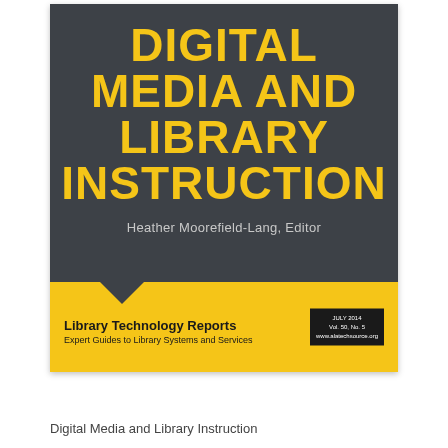[Figure (illustration): Book cover for 'Digital Media and Library Instruction' edited by Heather Moorefield-Lang, published in Library Technology Reports. Dark gray background with large yellow title text and yellow bottom band with publisher info.]
Digital Media and Library Instruction